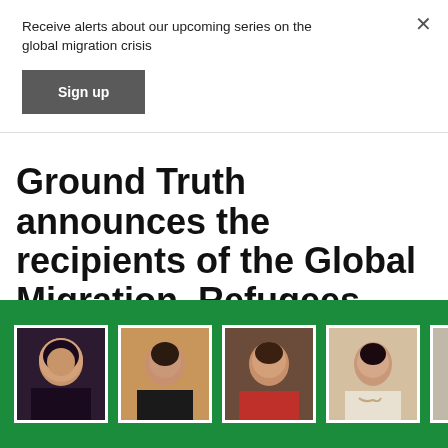Receive alerts about our upcoming series on the global migration crisis
Sign up
Ground Truth announces the recipients of the Global Migration, Refugees and Resettlement Reporting Fellowship
[Figure (photo): Green banner with five portrait photos of fellowship recipients side by side]